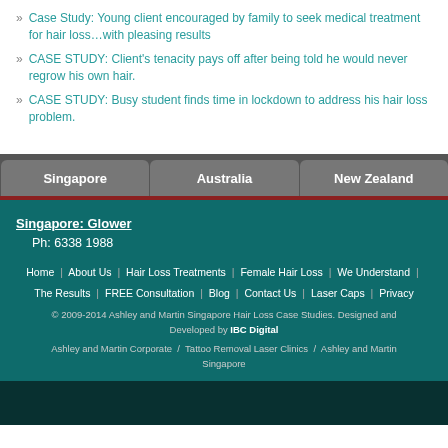Case Study: Young client encouraged by family to seek medical treatment for hair loss…with pleasing results
CASE STUDY: Client's tenacity pays off after being told he would never regrow his own hair.
CASE STUDY: Busy student finds time in lockdown to address his hair loss problem.
Singapore | Australia | New Zealand
Singapore: Glower
Ph: 6338 1988
Home | About Us | Hair Loss Treatments | Female Hair Loss | We Understand | The Results | FREE Consultation | Blog | Contact Us | Laser Caps | Privacy
© 2009-2014 Ashley and Martin Singapore Hair Loss Case Studies. Designed and Developed by IBC Digital
Ashley and Martin Corporate / Tattoo Removal Laser Clinics / Ashley and Martin Singapore